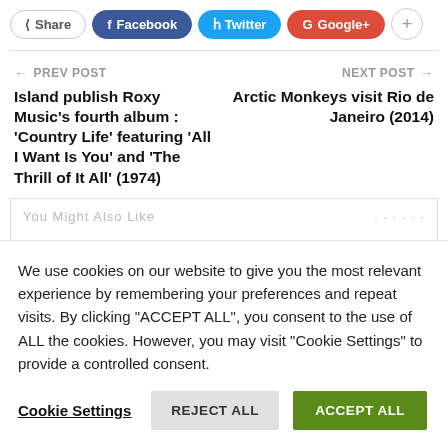Share  Facebook  Twitter  Google+  +
← PREV POST   NEXT POST →
Island publish Roxy Music's fourth album : 'Country Life' featuring 'All I Want Is You' and 'The Thrill of It All' (1974)
Arctic Monkeys visit Rio de Janeiro (2014)
We use cookies on our website to give you the most relevant experience by remembering your preferences and repeat visits. By clicking "ACCEPT ALL", you consent to the use of ALL the cookies. However, you may visit "Cookie Settings" to provide a controlled consent.
Cookie Settings   REJECT ALL   ACCEPT ALL